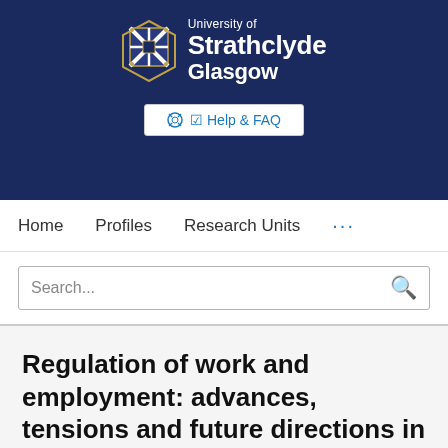[Figure (logo): University of Strathclyde Glasgow crest and wordmark on dark navy background with Help & FAQ button]
Home   Profiles   Research Units   ...
Search...
Regulation of work and employment: advances, tensions and future directions in research in international and comparative HRM